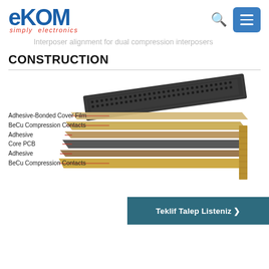eKOM simply electronics
Interposer alignment for dual compression interposers
CONSTRUCTION
[Figure (engineering-diagram): Exploded view of a compression interposer showing layers: Adhesive-Bonded Cover Film, BeCu Compression Contacts, Adhesive, Core PCB, Adhesive, BeCu Compression Contacts. Labels with red lines point to each layer on the left side. The interposer itself is shown in 3D perspective on the right.]
Teklif Talep Listeniz >